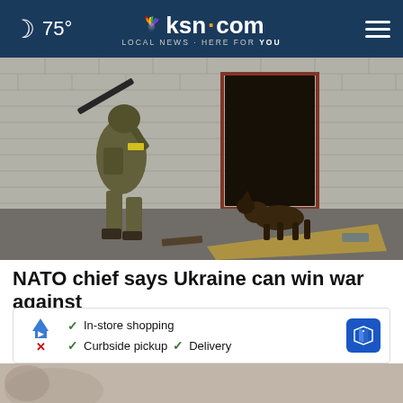🌙 75° | ksn.com LOCAL NEWS · HERE FOR YOU
[Figure (photo): Ukrainian soldiers in military gear with a German shepherd dog near a brick building doorway in a war zone]
NATO chief says Ukraine can win war against Russia
[Figure (infographic): Advertisement overlay showing: In-store shopping, Curbside pickup, Delivery with a navigation/map logo icon and close button]